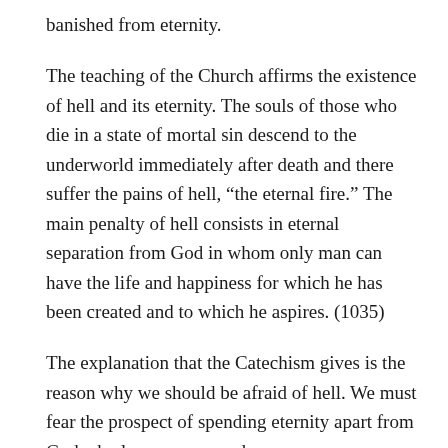banished from eternity.
The teaching of the Church affirms the existence of hell and its eternity. The souls of those who die in a state of mortal sin descend to the underworld immediately after death and there suffer the pains of hell, “the eternal fire.” The main penalty of hell consists in eternal separation from God in whom only man can have the life and happiness for which he has been created and to which he aspires. (1035)
The explanation that the Catechism gives is the reason why we should be afraid of hell. We must fear the prospect of spending eternity apart from God who loves us so much.
Although it is true that the children have seen hell represented as a sea of fire, Sister Lucy observed how those who were in hell...